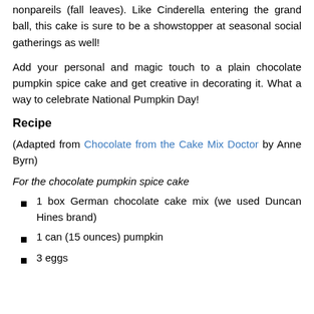nonpareils (fall leaves). Like Cinderella entering the grand ball, this cake is sure to be a showstopper at seasonal social gatherings as well!
Add your personal and magic touch to a plain chocolate pumpkin spice cake and get creative in decorating it. What a way to celebrate National Pumpkin Day!
Recipe
(Adapted from Chocolate from the Cake Mix Doctor by Anne Byrn)
For the chocolate pumpkin spice cake
1 box German chocolate cake mix (we used Duncan Hines brand)
1 can (15 ounces) pumpkin
3 eggs